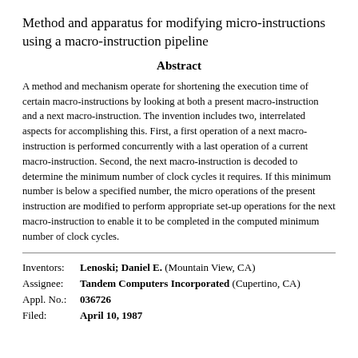Method and apparatus for modifying micro-instructions using a macro-instruction pipeline
Abstract
A method and mechanism operate for shortening the execution time of certain macro-instructions by looking at both a present macro-instruction and a next macro-instruction. The invention includes two, interrelated aspects for accomplishing this. First, a first operation of a next macro-instruction is performed concurrently with a last operation of a current macro-instruction. Second, the next macro-instruction is decoded to determine the minimum number of clock cycles it requires. If this minimum number is below a specified number, the micro operations of the present instruction are modified to perform appropriate set-up operations for the next macro-instruction to enable it to be completed in the computed minimum number of clock cycles.
Inventors: Lenoski; Daniel E. (Mountain View, CA)
Assignee: Tandem Computers Incorporated (Cupertino, CA)
Appl. No.: 036726
Filed: April 10, 1987